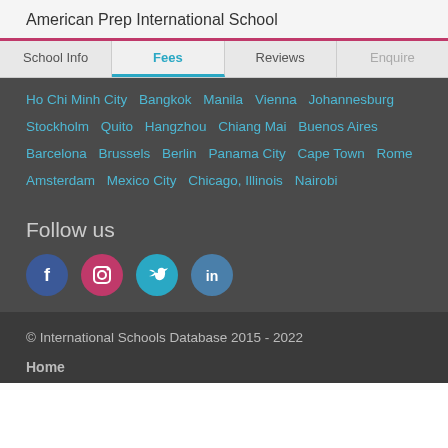American Prep International School
School Info | Fees | Reviews | Enquire
Ho Chi Minh City  Bangkok  Manila  Vienna  Johannesburg  Stockholm  Quito  Hangzhou  Chiang Mai  Buenos Aires  Barcelona  Brussels  Berlin  Panama City  Cape Town  Rome  Amsterdam  Mexico City  Chicago, Illinois  Nairobi
Follow us
© International Schools Database 2015 - 2022
Home